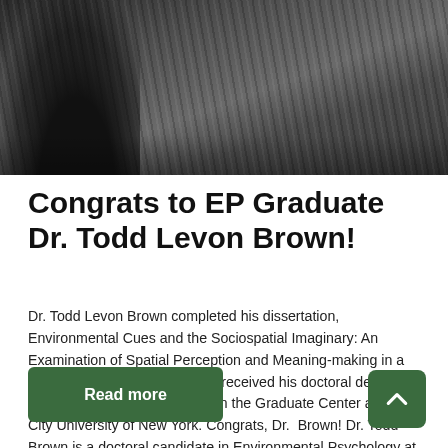[Figure (photo): Black and white photo showing the back of a person's head with dreadlocks in the background]
Congrats to EP Graduate Dr. Todd Levon Brown!
Dr. Todd Levon Brown completed his dissertation, Environmental Cues and the Sociospatial Imaginary: An Examination of Spatial Perception and Meaning-making in a Gentrifying Neighborhood and received his doctoral degree in Environmental Psychology from the Graduate Center at the City University of New York. Congrats, Dr. Brown! Dr. Todd Brown is a doctoral candidate in Environmental Psychology at …
Read more